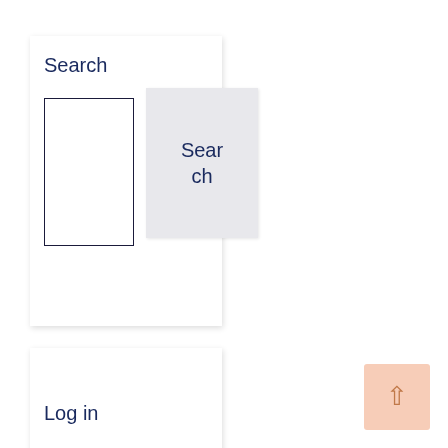Search
[Figure (screenshot): Search widget with a text input box and a Search button]
Log in
Tweets by TradersCom
[Figure (other): Back to top button with upward arrow, light orange/peach background]